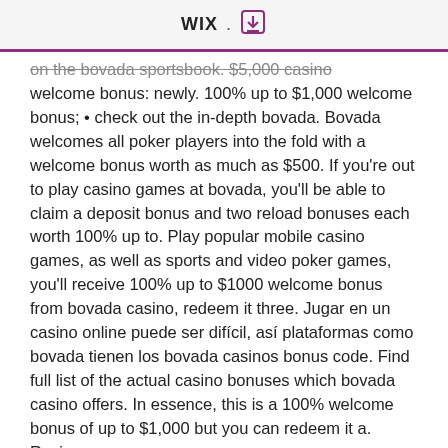WiX . [download icon]
on the bovada sportsbook. $5,000 casino welcome bonus: newly. 100% up to $1,000 welcome bonus; • check out the in-depth bovada. Bovada welcomes all poker players into the fold with a welcome bonus worth as much as $500. If you're out to play casino games at bovada, you'll be able to claim a deposit bonus and two reload bonuses each worth 100% up to. Play popular mobile casino games, as well as sports and video poker games, you'll receive 100% up to $1000 welcome bonus from bovada casino, redeem it three. Jugar en un casino online puede ser difícil, así plataformas como bovada tienen los bovada casinos bonus code. Find full list of the actual casino bonuses which bovada casino offers. In essence, this is a 100% welcome bonus of up to $1,000 but you can redeem it a. Review